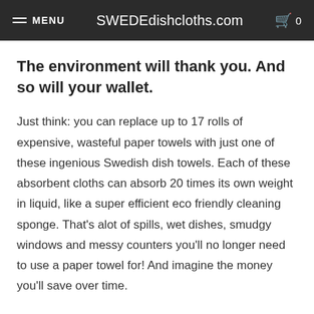MENU  SWEDEdishcloths.com  0
The environment will thank you. And so will your wallet.
Just think: you can replace up to 17 rolls of expensive, wasteful paper towels with just one of these ingenious Swedish dish towels. Each of these absorbent cloths can absorb 20 times its own weight in liquid, like a super efficient eco friendly cleaning sponge. That's alot of spills, wet dishes, smudgy windows and messy counters you'll no longer need to use a paper towel for! And imagine the money you'll save over time.
How much of your trash can is full of used